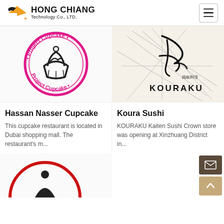Hong Chiang Technology Co., LTD.
[Figure (logo): Project Cupcake circular logo with cupcake illustration in pink/black]
[Figure (logo): KOURAKU Kaiten Sushi logo with Japanese calligraphy and geometric line pattern]
Hassan Nasser Cupcake
This cupcake restaurant is located in Dubai shopping mall. The restaurant's m...
Koura Sushi
KOURAKU Kaiten Sushi Crown store was opening at Xinzhuang District in...
[Figure (logo): Partial red/black logo visible at bottom left, cropped]